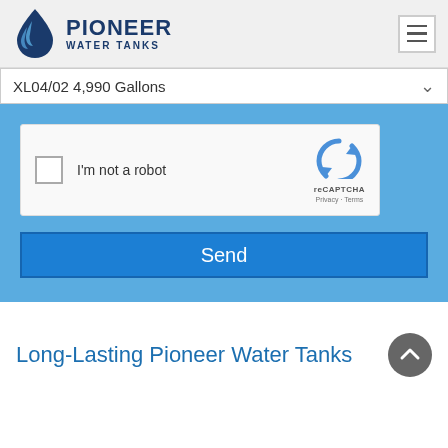[Figure (logo): Pioneer Water Tanks logo with water droplet icon and company name]
XL04/02 4,990 Gallons
[Figure (screenshot): reCAPTCHA widget with checkbox labeled 'I'm not a robot']
Send
Long-Lasting Pioneer Water Tanks